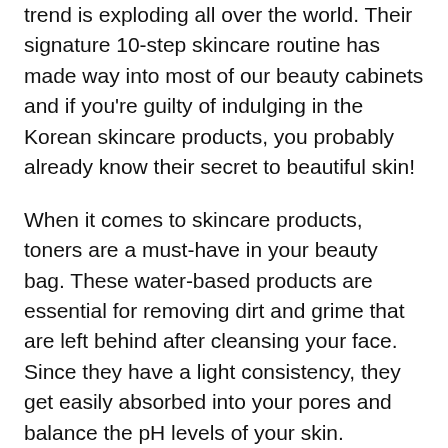trend is exploding all over the world. Their signature 10-step skincare routine has made way into most of our beauty cabinets and if you're guilty of indulging in the Korean skincare products, you probably already know their secret to beautiful skin!
When it comes to skincare products, toners are a must-have in your beauty bag. These water-based products are essential for removing dirt and grime that are left behind after cleansing your face. Since they have a light consistency, they get easily absorbed into your pores and balance the pH levels of your skin.
In the 1970s, toners were often used to remove excess dirt and oil from skin at the end of the